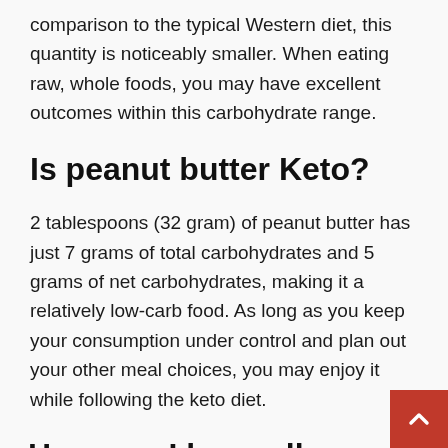comparison to the typical Western diet, this quantity is noticeably smaller. When eating raw, whole foods, you may have excellent outcomes within this carbohydrate range.
Is peanut butter Keto?
2 tablespoons (32 gram) of peanut butter has just 7 grams of total carbohydrates and 5 grams of net carbohydrates, making it a relatively low-carb food. As long as you keep your consumption under control and plan out your other meal choices, you may enjoy it while following the keto diet.
How can I lose a lb a day?